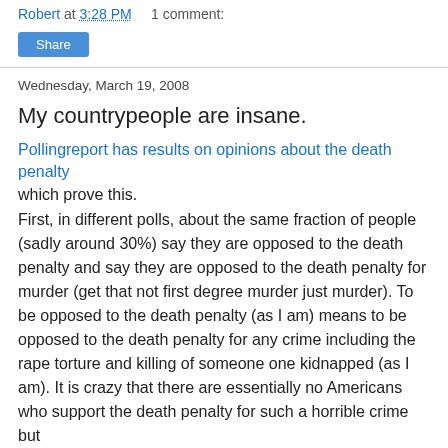Robert at 3:28 PM    1 comment:
Share
Wednesday, March 19, 2008
My countrypeople are insane.
Pollingreport has results on opinions about the death penalty which prove this.
First, in different polls, about the same fraction of people (sadly around 30%) say they are opposed to the death penalty and say they are opposed to the death penalty for murder (get that not first degree murder just murder). To be opposed to the death penalty (as I am) means to be opposed to the death penalty for any crime including the rape torture and killing of someone one kidnapped (as I am). It is crazy that there are essentially no Americans who support the death penalty for such a horrible crime but